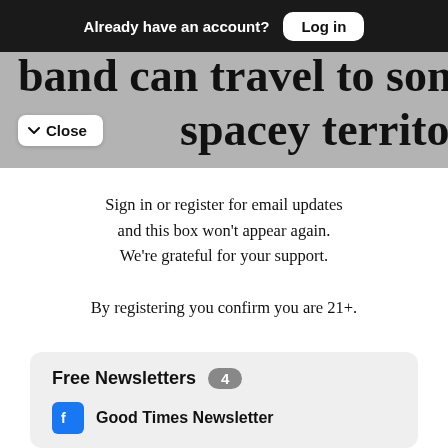Already have an account? Log in
band can travel to some cosmic, outerspacey territory—it is called
Close
Sign in or register for email updates and this box won't appear again. We're grateful for your support.
By registering you confirm you are 21+.
Free Newsletters 4
Good Times Newsletter